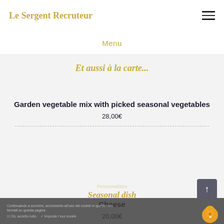Le Sergent Recruteur
Menu
Et aussi à la carte...
Garden vegetable mix with picked seasonal vegetables
28,00€
Cheese
20,00€
Personnalizza
Seasonal dish